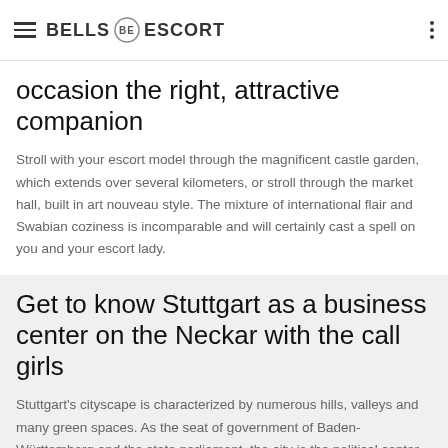BELLS ESCORT
occasion the right, attractive companion
Stroll with your escort model through the magnificent castle garden, which extends over several kilometers, or stroll through the market hall, built in art nouveau style. The mixture of international flair and Swabian coziness is incomparable and will certainly cast a spell on you and your escort lady.
Get to know Stuttgart as a business center on the Neckar with the call girls
Stuttgart's cityscape is characterized by numerous hills, valleys and many green spaces. As the seat of government of Baden-Württemberg and the state parliament, the city is the political center of the state and an extremely important business location. With the